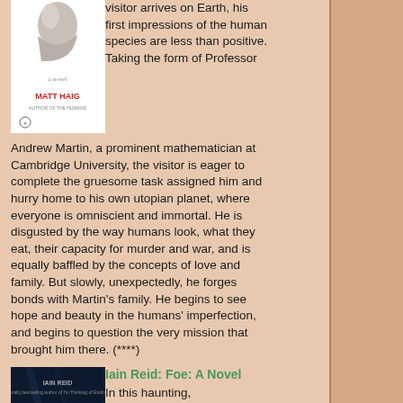[Figure (illustration): Book cover of Matt Haig novel with white background and abstract figure, red author name]
visitor arrives on Earth, his first impressions of the human species are less than positive. Taking the form of Professor Andrew Martin, a prominent mathematician at Cambridge University, the visitor is eager to complete the gruesome task assigned him and hurry home to his own utopian planet, where everyone is omniscient and immortal. He is disgusted by the way humans look, what they eat, their capacity for murder and war, and is equally baffled by the concepts of love and family. But slowly, unexpectedly, he forges bonds with Martin's family. He begins to see hope and beauty in the humans' imperfection, and begins to question the very mission that brought him there. (****)
[Figure (illustration): Book cover of Iain Reid: Foe with dark blue background]
Iain Reid: Foe: A Novel
In this haunting,